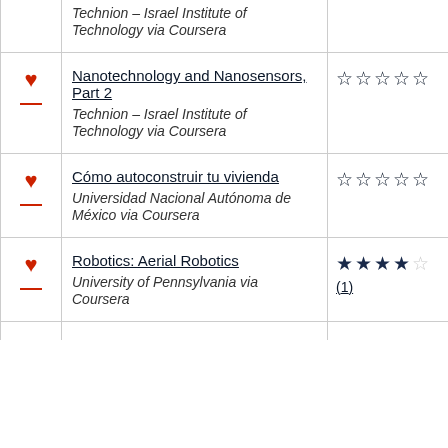|  | Course | Rating |
| --- | --- | --- |
| ♥ | Nanotechnology and Nanosensors, Part 2
Technion – Israel Institute of Technology via Coursera | ☆☆☆☆☆ |
| ♥ | Cómo autoconstruir tu vivienda
Universidad Nacional Autónoma de México via Coursera | ☆☆☆☆☆ |
| ♥ | Robotics: Aerial Robotics
University of Pennsylvania via Coursera | ★★★★☆ (1) |